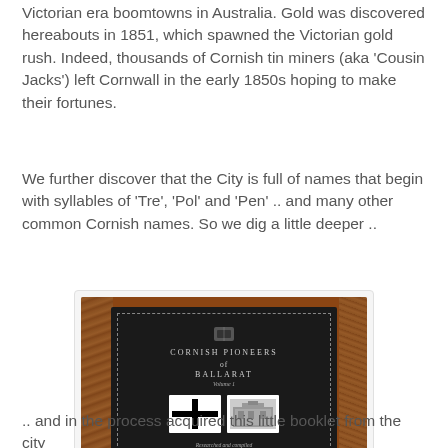Victorian era boomtowns in Australia. Gold was discovered hereabouts in 1851, which spawned the Victorian gold rush. Indeed, thousands of Cornish tin miners (aka 'Cousin Jacks') left Cornwall in the early 1850s hoping to make their fortunes.
We further discover that the City is full of names that begin with syllables of 'Tre', 'Pol' and 'Pen' .. and many other common Cornish names. So we dig a little deeper ..
[Figure (photo): A photo of a black book titled 'Cornish Pioneers of Ballarat Volume 1' placed on a wooden surface. The book cover shows two images: a Cornish flag and a building, and credits authors Lillian Dell and Joy Menhennett.]
.. and in the process acquired this little booklet from the city